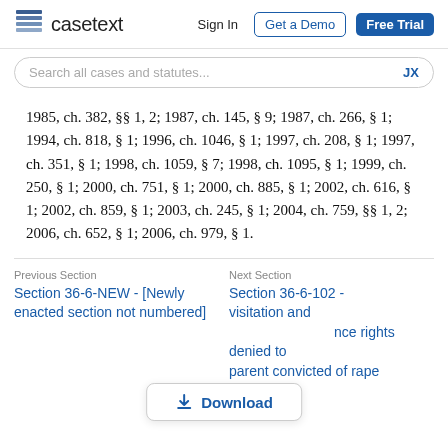casetext  Sign In  Get a Demo  Free Trial
Search all cases and statutes...  JX
1985, ch. 382, §§ 1, 2; 1987, ch. 145, § 9; 1987, ch. 266, § 1; 1994, ch. 818, § 1; 1996, ch. 1046, § 1; 1997, ch. 208, § 1; 1997, ch. 351, § 1; 1998, ch. 1059, § 7; 1998, ch. 1095, § 1; 1999, ch. 250, § 1; 2000, ch. 751, § 1; 2000, ch. 885, § 1; 2002, ch. 616, § 1; 2002, ch. 859, § 1; 2003, ch. 245, § 1; 2004, ch. 759, §§ 1, 2; 2006, ch. 652, § 1; 2006, ch. 979, § 1.
Previous Section
Section 36-6-NEW - [Newly enacted section not numbered]
Next Section
Section 36-6-102 - visitation and maintenance rights denied to parent convicted of rape